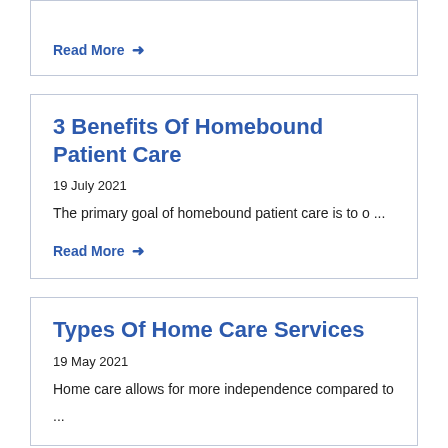Read More →
3 Benefits Of Homebound Patient Care
19 July 2021
The primary goal of homebound patient care is to o ...
Read More →
Types Of Home Care Services
19 May 2021
Home care allows for more independence compared to
...